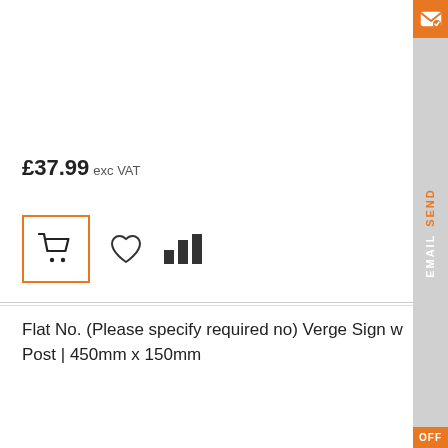£37.99 exc VAT
[Figure (illustration): Row of action icons: a shopping cart button with orange border, a heart/wishlist icon, and a bar chart comparison icon]
Flat No. (Please specify required no) Verge Sign w Post | 450mm x 150mm